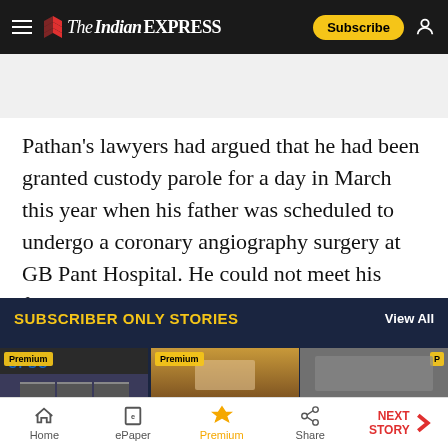The Indian Express — Subscribe
Pathan's lawyers had argued that he had been granted custody parole for a day in March this year when his father was scheduled to undergo a coronary angiography surgery at GB Pant Hospital. He could not meet his father, however, since he was in surgery at the time.
SUBSCRIBER ONLY STORIES
View All
[Figure (screenshot): Three subscriber-only premium story cards showing UPSC, Rahul Gandhi, and Adani images with Premium badges]
Home | ePaper | Premium | Share | NEXT STORY